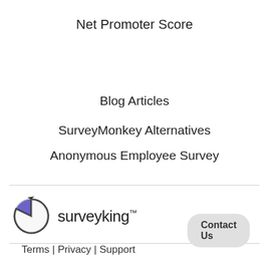Net Promoter Score
Blog Articles
SurveyMonkey Alternatives
Anonymous Employee Survey
[Figure (logo): SurveyKing logo: circular arrow icon with purple triangle and the text 'surveyking' with TM mark]
Terms  |  Privacy  |  Support